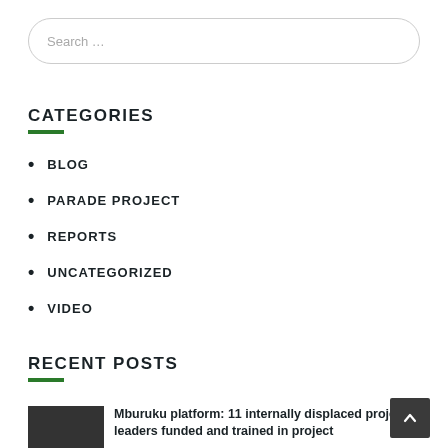Search …
CATEGORIES
BLOG
PARADE PROJECT
REPORTS
UNCATEGORIZED
VIDEO
RECENT POSTS
Mburuku platform: 11 internally displaced project leaders funded and trained in project